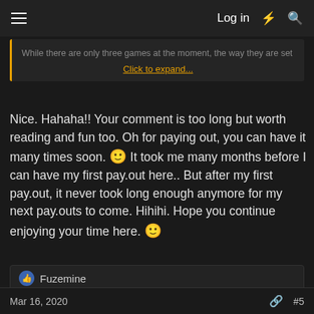Log in
While there are only three games at the moment, the way they are set
Click to expand...
Nice. Hahaha!! Your comment is too long but worth reading and fun too. Oh for paying out, you can have it many times soon. 🙂 It took me many months before I can have my first pay.out here.. But after my first pay.out, it never took long enough anymore for my next pay.outs to come. Hihihi. Hope you continue enjoying your time here. 🙂
👍 Fuzemine
JerryMouse
Member
Mar 16, 2020  #5